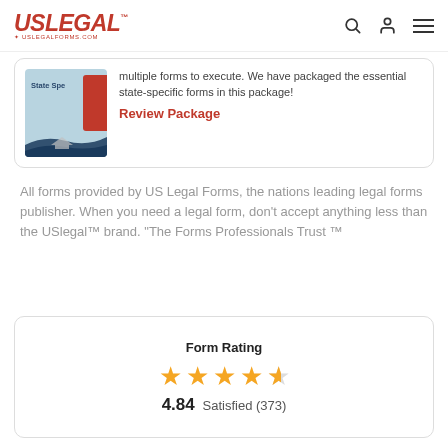[Figure (logo): USLegal logo with eagle emblem and uslegalforms.com text]
[Figure (illustration): State-specific forms package card with red bar and wave background]
multiple forms to execute. We have packaged the essential state-specific forms in this package!
Review Package
All forms provided by US Legal Forms, the nations leading legal forms publisher. When you need a legal form, don't accept anything less than the USlegal™ brand. "The Forms Professionals Trust ™
Form Rating
[Figure (other): 4.5 star rating display with gold stars]
4.84  Satisfied (373)